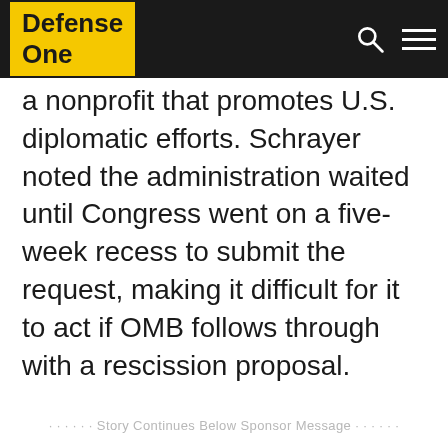Defense One
a nonprofit that promotes U.S. diplomatic efforts. Schrayer noted the administration waited until Congress went on a five-week recess to submit the request, making it difficult for it to act if OMB follows through with a rescission proposal.
· · · · · · Story Continues Below Sponsor Message · · · · · ·